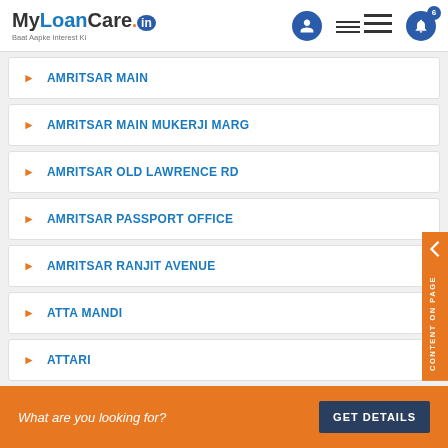MyLoanCare.in - Baat Aapke Interest Ki
AMRITSAR MAIN
AMRITSAR MAIN MUKERJI MARG
AMRITSAR OLD LAWRENCE RD
AMRITSAR PASSPORT OFFICE
AMRITSAR RANJIT AVENUE
ATTA MANDI
ATTARI
BABA BAKALA
What are you looking for? GET DETAILS